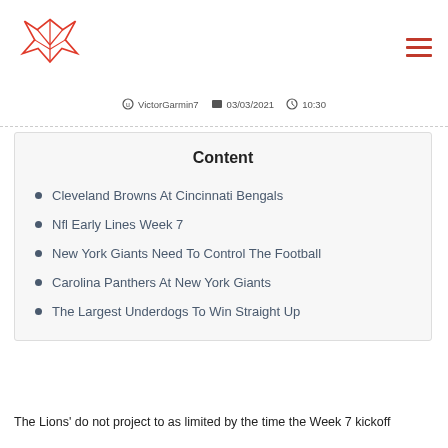[Fox logo] [hamburger menu icon]
VictorGarmin7   03/03/2021   10:30
Content
Cleveland Browns At Cincinnati Bengals
Nfl Early Lines Week 7
New York Giants Need To Control The Football
Carolina Panthers At New York Giants
The Largest Underdogs To Win Straight Up
The Lions' do not project to as limited by the time the Week 7 kickoff